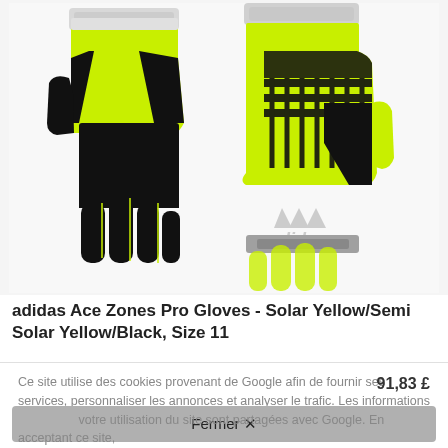[Figure (photo): Product photo of adidas Ace Zones Pro goalkeeper gloves in Solar Yellow/Semi Solar Yellow/Black. Left glove shows palm side with black fingers and yellow body. Right glove shows back side with adidas logo and geometric pattern.]
adidas Ace Zones Pro Gloves - Solar Yellow/Semi Solar Yellow/Black, Size 11
Ce site utilise des cookies provenant de Google afin de fournir ses services, personnaliser les annonces et analyser le trafic. Les informations relatives à votre utilisation du site sont partagées avec Google. En acceptant ce site, vous acceptez l'utilisation des cookies. En savoir plus
91,83 £
Fermer ✕